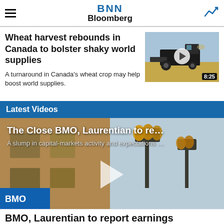BNN Bloomberg
Wheat harvest rebounds in Canada to bolster shaky world supplies
A turnaround in Canada's wheat crop may help boost world supplies.
[Figure (photo): Combine harvester in a wheat field, video thumbnail with play button and duration 8:25]
Latest Videos
[Figure (photo): Large video thumbnail showing a building with street lamps, with overlay text 'The Close BMO, Laurentian to re...' and subtitle 'A slump in capital-markets activity and expectations ...' with a play button]
BMO, Laurentian to report earnings